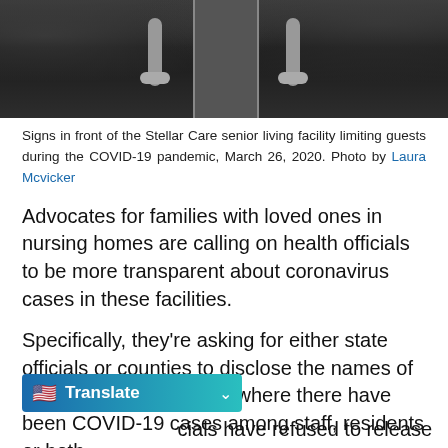[Figure (photo): Black and white photo of glass doors with metal handles at the Stellar Care senior living facility, with foliage visible on either side of the entrance.]
Signs in front of the Stellar Care senior living facility limiting guests during the COVID-19 pandemic, March 26, 2020. Photo by Laura Mcvicker
Advocates for families with loved ones in nursing homes are calling on health officials to be more transparent about coronavirus cases in these facilities.
Specifically, they’re asking for either state officials or counties to disclose the names of the senior care facilities where there have been COVID-19 cases among staff, residents or both.
cials have refused to release